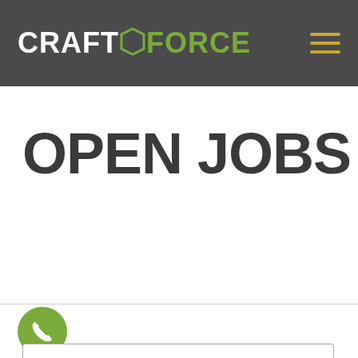CRAFTFORCE
OPEN JOBS
[Figure (logo): Green circle with white phone handset icon (call button)]
[Figure (other): Search bar input field at the bottom of the page]